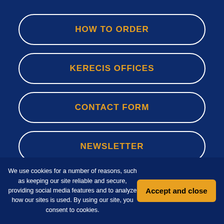HOW TO ORDER
KERECIS OFFICES
CONTACT FORM
NEWSLETTER
PRODUCTS
We use cookies for a number of reasons, such as keeping our site reliable and secure, providing social media features and to analyze how our sites is used. By using our site, you consent to cookies.
Accept and close